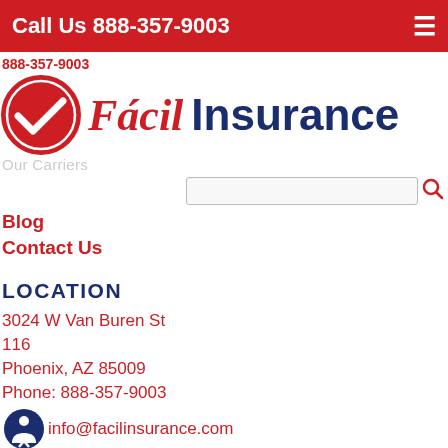Call Us 888-357-9003
888-357-9003
[Figure (logo): Fácil Insurance logo with red circle checkmark and company name in red italic and dark blue text]
Our Carriers
Blog
Contact Us
LOCATION
3024 W Van Buren St
116
Phoenix, AZ 85009
Phone: 888-357-9003
info@facilinsurance.com